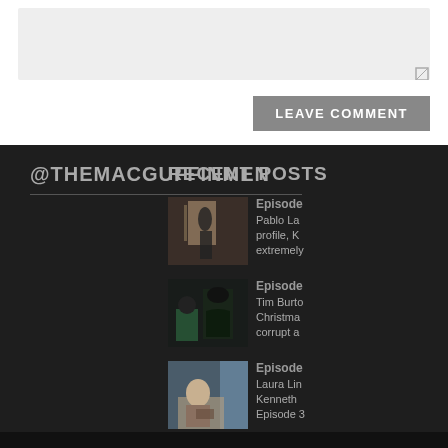[Figure (other): Comment text area input box (partially visible, gray background)]
LEAVE COMMENT
@THEMACGUFFINMEN
RECENT POSTS
[Figure (photo): Silhouette of a person standing in a doorway with light behind them]
Episode... Pablo La... profile, K... extremely...
[Figure (photo): Batman and another character in a dark scene]
Episode... Tim Burto... Christma... corrupt a...
[Figure (photo): A man sitting at a table near a window]
Episode... Laura Lin... Kenneth... Episode 3...